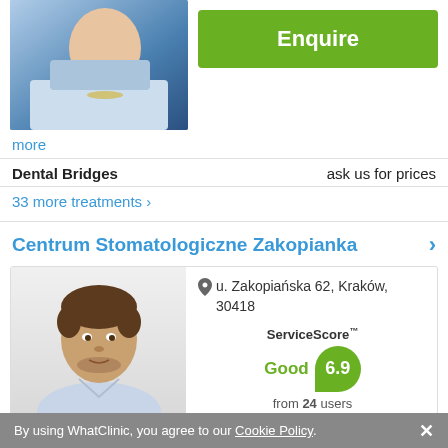[Figure (photo): Patient photo - woman lying in dental chair wearing blue bib]
Enquire
more
Dental Bridges    ask us for prices
33 more treatments >
Centrum Stomatologiczne Zakopianka
[Figure (photo): Doctor photo - young male doctor with beard wearing light blue shirt]
u. Zakopiańska 62, Kraków, 30418
ServiceScore™ Good 6.9 from 24 users
By using WhatClinic, you agree to our Cookie Policy. ✕